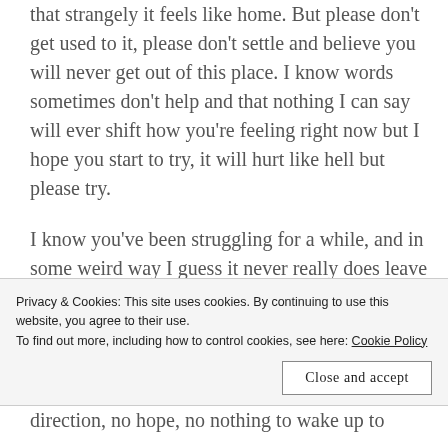that strangely it feels like home. But please don't get used to it, please don't settle and believe you will never get out of this place. I know words sometimes don't help and that nothing I can say will ever shift how you're feeling right now but I hope you start to try, it will hurt like hell but please try.
I know you've been struggling for a while, and in some weird way I guess it never really does leave you. You do make it through to the light but you still have the past and the memories of
Privacy & Cookies: This site uses cookies. By continuing to use this website, you agree to their use.
To find out more, including how to control cookies, see here: Cookie Policy
direction, no hope, no nothing to wake up to